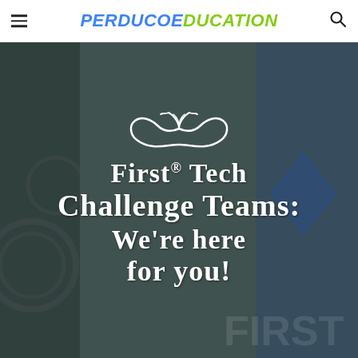PERDUCOEDUCATION
[Figure (photo): Hero image with robotics background showing gears and a FIRST Tech Challenge banner, with overlaid white text reading 'FIRST® Tech Challenge Teams: We're here for you!' and a decorative mustache logo above the text.]